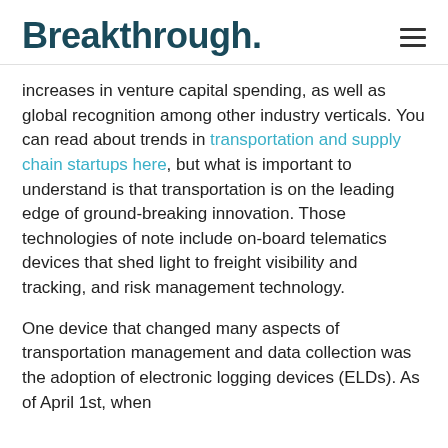Breakthrough.
increases in venture capital spending, as well as global recognition among other industry verticals. You can read about trends in transportation and supply chain startups here, but what is important to understand is that transportation is on the leading edge of ground-breaking innovation. Those technologies of note include on-board telematics devices that shed light to freight visibility and tracking, and risk management technology.
One device that changed many aspects of transportation management and data collection was the adoption of electronic logging devices (ELDs). As of April 1st, when